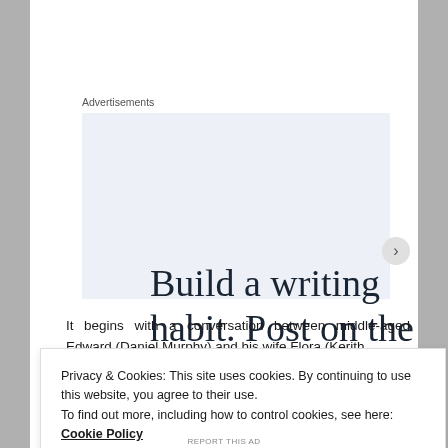Advertisements
[Figure (other): Advertisement banner with large serif text reading 'Build a writing habit. Post on the go' on a light blue-grey background]
It begins with a conversation between middle-aged Edward (Daniel Murphy) and his wife Flora (Kerith
Privacy & Cookies: This site uses cookies. By continuing to use this website, you agree to their use.
To find out more, including how to control cookies, see here: Cookie Policy
Close and accept